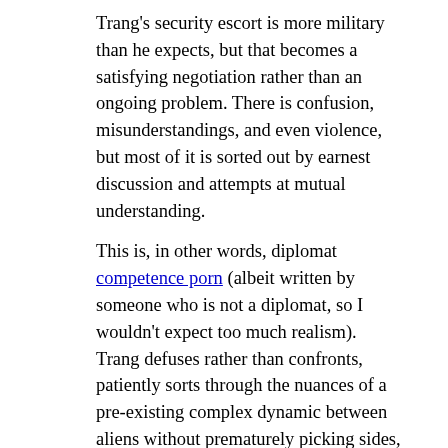Trang's security escort is more military than he expects, but that becomes a satisfying negotiation rather than an ongoing problem. There is confusion, misunderstandings, and even violence, but most of it is sorted out by earnest discussion and attempts at mutual understanding.
This is, in other words, diplomat competence porn (albeit written by someone who is not a diplomat, so I wouldn't expect too much realism). Trang defuses rather than confronts, patiently sorts through the nuances of a pre-existing complex dynamic between aliens without prematurely picking sides, and has the presence of mind to realize that the special forces troops assigned to him are another culture he needs to approach with the same skills. Most of the book is low-stakes confusion, curiosity, and careful exploration, which could have been boring but wasn't. It helps that Sisson packs a lot of complexity into the station